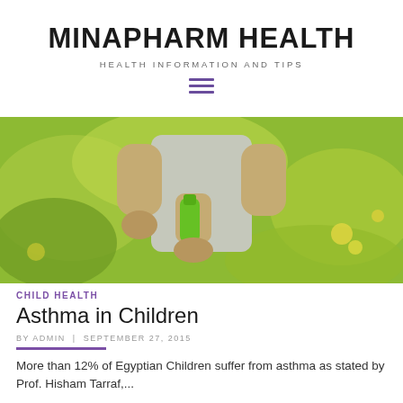MINAPHARM HEALTH
HEALTH INFORMATION AND TIPS
[Figure (photo): Child outdoors holding a green inhaler, surrounded by greenery and flowers]
CHILD HEALTH
Asthma in Children
BY ADMIN  |  SEPTEMBER 27, 2015
More than 12% of Egyptian Children suffer from asthma as stated by Prof. Hisham Tarraf,...